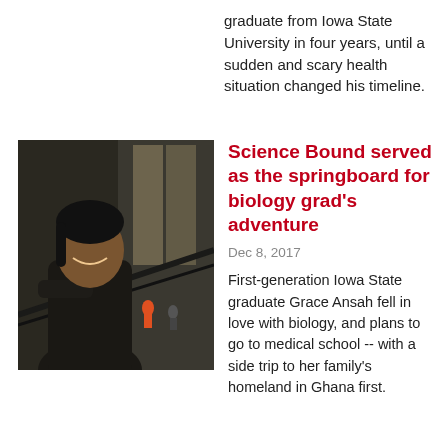graduate from Iowa State University in four years, until a sudden and scary health situation changed his timeline.
[Figure (photo): A smiling young Black woman in a black turtleneck leaning on a railing, with people and architectural elements visible below in the background.]
Science Bound served as the springboard for biology grad's adventure
Dec 8, 2017
First-generation Iowa State graduate Grace Ansah fell in love with biology, and plans to go to medical school -- with a side trip to her family's homeland in Ghana first.